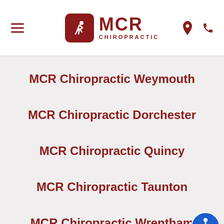MCR Chiropractic
MCR Chiropractic Weymouth
MCR Chiropractic Dorchester
MCR Chiropractic Quincy
MCR Chiropractic Taunton
MCR Chiropractic Wrentham